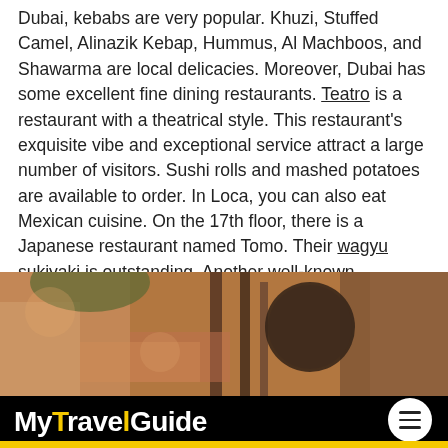Dubai, kebabs are very popular. Khuzi, Stuffed Camel, Alinazik Kebap, Hummus, Al Machboos, and Shawarma are local delicacies. Moreover, Dubai has some excellent fine dining restaurants. Teatro is a restaurant with a theatrical style. This restaurant's exquisite vibe and exceptional service attract a large number of visitors. Sushi rolls and mashed potatoes are available to order. In Loca, you can also eat Mexican cuisine. On the 17th floor, there is a Japanese restaurant named Tomo. Their wagyu sukiyaki is outstanding. Another well-known Japanese restaurant in Dubai is Nobu. The greatest dining experience is by live music and a DJ.
[Figure (photo): Interior photo of a restaurant with food displays, decorative items, and warm lighting. Overlaid with MyTravelGuide logo and hamburger menu button.]